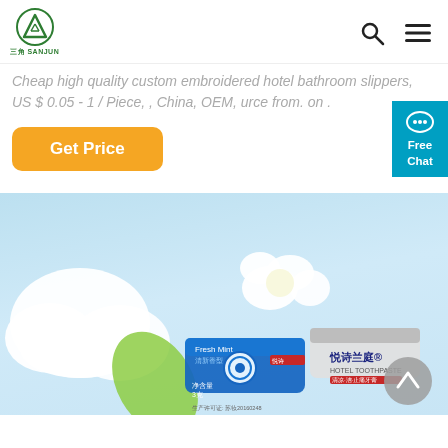[Figure (logo): Sanjun company logo: green triangle/mountain icon with Chinese text below reading SANJUN]
Cheap high quality custom embroidered hotel bathroom slippers, US $ 0.05 - 1 / Piece, , China, OEM, urce from. on .
[Figure (other): Orange 'Get Price' button and teal 'Free Chat' badge on the right]
[Figure (photo): Product photo showing hotel toothpaste tubes (Fresh Mint, 悦诗兰庭 HOTEL TOOTHPASTE brand) displayed against a light blue background with white flowers and green leaf decoration]